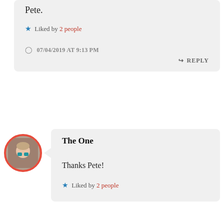Pete.
Liked by 2 people
07/04/2019 AT 9:13 PM
REPLY
The One
Thanks Pete!
Liked by 2 people